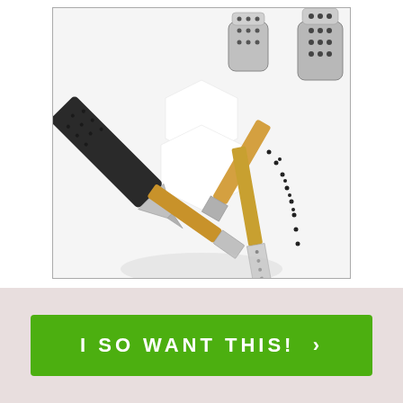[Figure (photo): Overhead photo of baking/cake decorating tools on a white background: a black piping bag with metal tips, two wooden-handled spatulas/scrapers, and two metal shaker jars, with some black sprinkles scattered around.]
I SO WANT THIS! ›